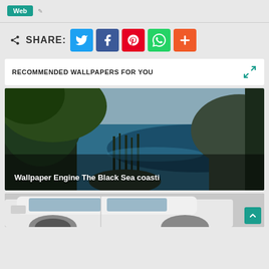Web
SHARE:
[Figure (screenshot): Social share buttons: Twitter (blue), Facebook (dark blue), Pinterest (red), WhatsApp (green), More/Plus (orange-red)]
RECOMMENDED WALLPAPERS FOR YOU
[Figure (photo): Coastal landscape photo showing trees and the Black Sea coast with rocky headland, labeled 'Wallpaper Engine The Black Sea coasti']
Wallpaper Engine The Black Sea coasti
[Figure (photo): Partial view of a white car interior/exterior at the bottom of the page]